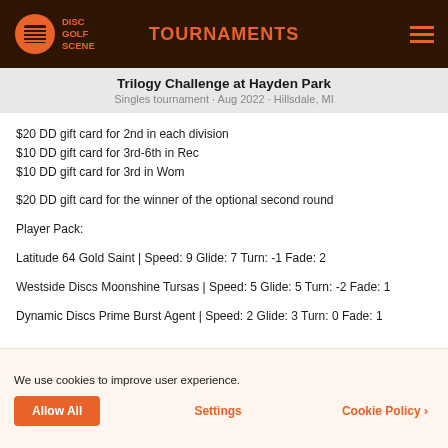TOURNAMENTS
Trilogy Challenge at Hayden Park
Singles tournament · Aug 2022 · Hillsdale, MI
$20 DD gift card for 2nd in each division
$10 DD gift card for 3rd-6th in Rec
$10 DD gift card for 3rd in Wom
$20 DD gift card for the winner of the optional second round
Player Pack:
Latitude 64 Gold Saint | Speed: 9 Glide: 7 Turn: -1 Fade: 2
Westside Discs Moonshine Tursas | Speed: 5 Glide: 5 Turn: -2 Fade: 1
Dynamic Discs Prime Burst Agent | Speed: 2 Glide: 3 Turn: 0 Fade: 1
REFUND POLICY
We use cookies to improve user experience.